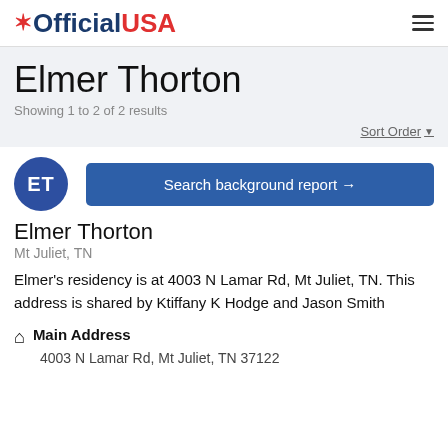OfficialUSA
Elmer Thorton
Showing 1 to 2 of 2 results
Sort Order
[Figure (other): Blue circle avatar with initials ET]
Search background report →
Elmer Thorton
Mt Juliet, TN
Elmer's residency is at 4003 N Lamar Rd, Mt Juliet, TN. This address is shared by Ktiffany K Hodge and Jason Smith
Main Address
4003 N Lamar Rd, Mt Juliet, TN 37122